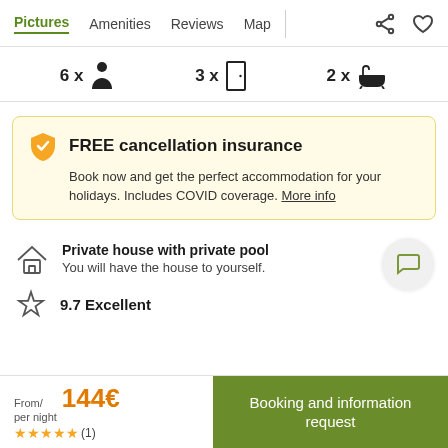Pictures  Amenities  Reviews  Map
[Figure (infographic): Amenities row: 6x person icon, 3x door icon, 2x bathtub icon]
FREE cancellation insurance
Book now and get the perfect accommodation for your holidays. Includes COVID coverage. More info
Private house with private pool
You will have the house to yourself.
9.7 Excellent
From/ per night 144€ ★★★★★ (1)
Booking and information request